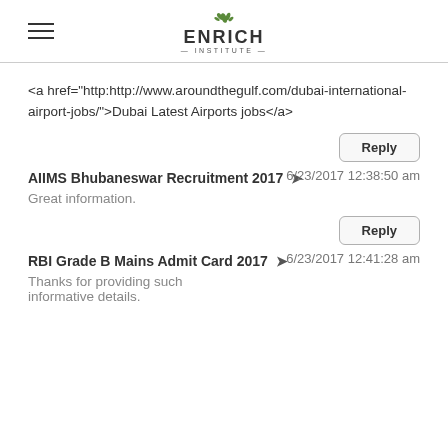ENRICH INSTITUTE
<a href="http:http://www.aroundthegulf.com/dubai-international-airport-jobs/">Dubai Latest Airports jobs</a>
Reply
AIIMS Bhubaneswar Recruitment 2017
6/23/2017 12:38:50 am
Great information.
Reply
RBI Grade B Mains Admit Card 2017
6/23/2017 12:41:28 am
Thanks for providing such informative details.